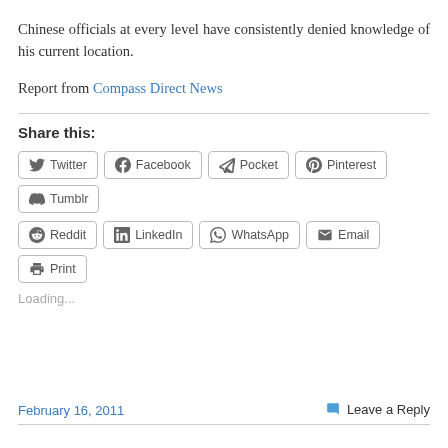Chinese officials at every level have consistently denied knowledge of his current location.
Report from Compass Direct News
Share this:
Twitter, Facebook, Pocket, Pinterest, Tumblr, Reddit, LinkedIn, WhatsApp, Email, Print
Loading...
February 16, 2011
Leave a Reply